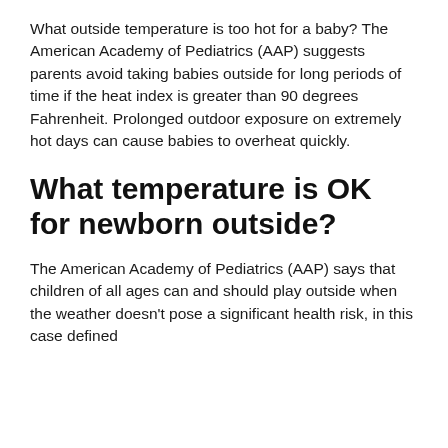What outside temperature is too hot for a baby? The American Academy of Pediatrics (AAP) suggests parents avoid taking babies outside for long periods of time if the heat index is greater than 90 degrees Fahrenheit. Prolonged outdoor exposure on extremely hot days can cause babies to overheat quickly.
What temperature is OK for newborn outside?
The American Academy of Pediatrics (AAP) says that children of all ages can and should play outside when the weather doesn't pose a significant health risk, in this case defined